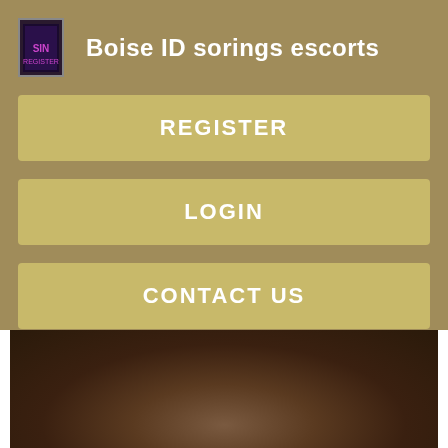Boise ID sorings escorts
REGISTER
LOGIN
CONTACT US
[Figure (photo): Dark close-up photo with brownish tones]
Brandon Winnipeg Roblin. Fredericton Moncton St. Newfoundland and Labrador. Nova Scotia. Prince Albert Regina Saskatoon. Singapore Singapore Singapore.